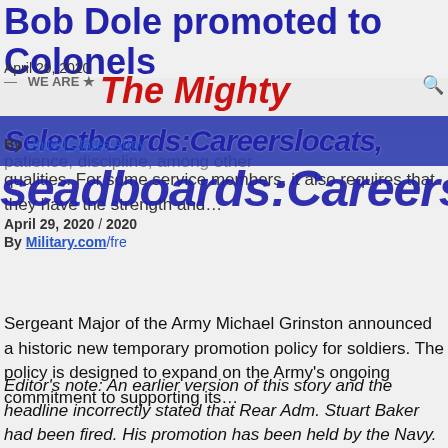Bob Dole promoted to Colonels
April 29, 2020
By United States Army
[Figure (screenshot): Overlapping website navigation banners from The Mighty and Military.com showing logos, social icons, and navigation elements overlaid on the article]
patience, discipline, among other qualities. For some service members, it also requires that they have the strength and…
April 29, 2020
By Military.com/fre
Sergeant Major of the Army Michael Grinston announced a historic new temporary promotion policy for soldiers. The policy is designed to expand on the Army's ongoing commitment to supporting its…
Editor's note: An earlier version of this story and the headline incorrectly stated that Rear Adm. Stuart Baker had been fired. His promotion has been held by the Navy.
The N…
Career advancements will be postponed for more than 159,500 sailors and officers as the Navy cancels selection boards.